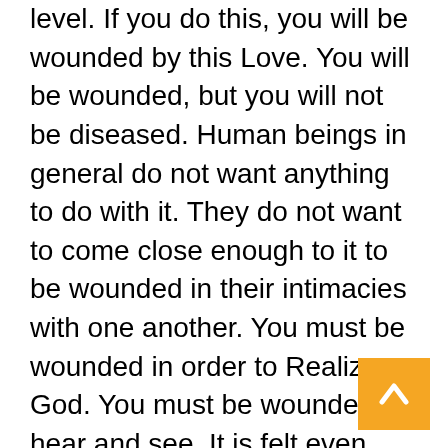level. If you do this, you will be wounded by this Love. You will be wounded, but you will not be diseased. Human beings in general do not want anything to do with it. They do not want to come close enough to it to be wounded in their intimacies with one another. You must be wounded in order to Realize God. You must be wounded to hear and see. It is felt even physically as a kind of wound. It is felt as intense, armorless vulnerability. If you can begin to awaken to this principle, then you will love one another. Your friendships and your community life will become possible. You will make a different kind of community, a true spiritual community, which is a process that only uniquely free people can enter into. This wound enlivens you. It releases great force, great energy. It releases all of the armor of the usual personality. It enables you to Love, to be with one another, to enter into this wound
[Figure (other): Orange square back/up button with white upward-pointing chevron arrow]